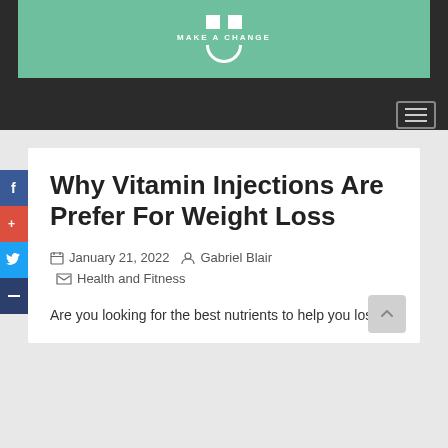[Figure (logo): Make A Change website logo on green background with two white squares and smile icon, set within dark header bar]
Why Vitamin Injections Are Prefer For Weight Loss
January 21, 2022   Gabriel Blair   Health and Fitness
Are you looking for the best nutrients to help you lose